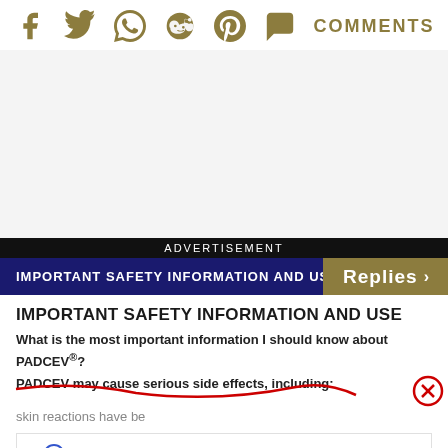[Figure (other): Social sharing icons: Facebook, Twitter, WhatsApp, Reddit, Pinterest, Comments button]
[Figure (other): Gray advertisement placeholder area]
ADVERTISEMENT
IMPORTANT SAFETY INFORMATION AND US
IMPORTANT SAFETY INFORMATION AND USE
What is the most important information I should know about PADCEV®?
PADCEV may cause serious side effects, including:
skin reactions have be
[Figure (other): Bottom advertisement banner with store pickup and delivery options]